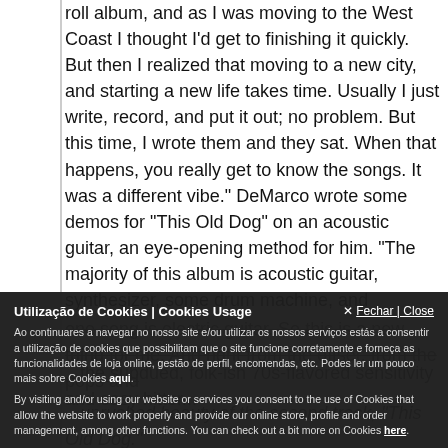roll album, and as I was moving to the West Coast I thought I'd get to finishing it quickly. But then I realized that moving to a new city, and starting a new life takes time. Usually I just write, record, and put it out; no problem. But this time, I wrote them and they sat. When that happens, you really get to know the songs. It was a different vibe." DeMarco wrote some demos for "This Old Dog" on an acoustic guitar, an eye-opening method for him. "The majority of this album is acoustic guitar, synthesizer, some drum machine, and one song is electric guitar. So this is a new thing for me. And right from the offset, from the pops and...
...the subdued, folk-ish 70s-flavored sensitivity and easy hitter...
...unrushed beauty of the second track, "This Old Dog."
...in fact, "This Old Dog" is rooted more in a synth-base...
Utilização de Cookies | Cookies Usage

Ao continuares a navegar no nosso site e/ou utilizar os nossos serviços estás a consentir a utilização de cookies que possibilitam que o site funcione corretamente e forneça as funcionalidades de loja online, gestão de perfil, encomendas, etc. Podes ler um pouco mais sobre Cookies aqui.

By visiting and/or using our website or services you consent to the use of Cookies that allow the website to work properly and provide our online store, profile and order management, among other functions. You can check out a bit more on Cookies here.